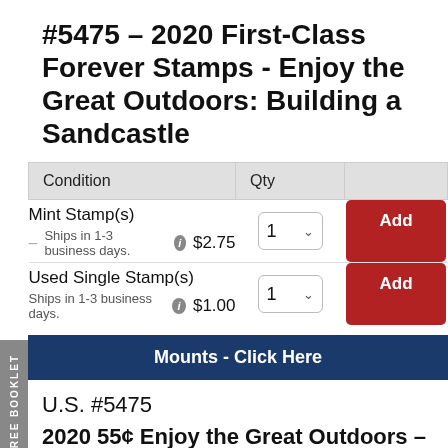#5475 – 2020 First-Class Forever Stamps - Enjoy the Great Outdoors: Building a Sandcastle
| Condition | Qty |  |
| --- | --- | --- |
| Mint Stamp(s)
Ships in 1-3 business days. $2.75 | 1 | Add |
| Used Single Stamp(s)
Ships in 1-3 business days. $1.00 | 1 | Add |
Mounts - Click Here
U.S. #5475
2020 55¢ Enjoy the Great Outdoors – Sand Castles